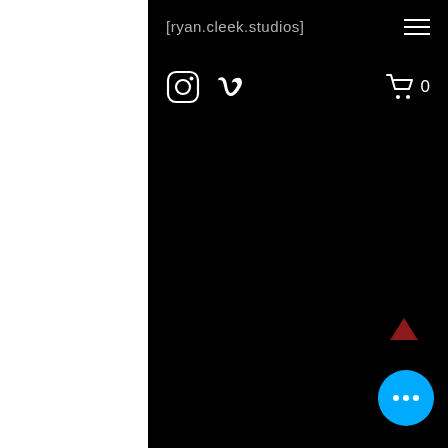[ryan.cleek.studios]
[Figure (screenshot): Website navigation bar with hamburger menu icon (three horizontal lines), Instagram and Vimeo social icons, and a shopping cart icon with count 0. Dark/black background. A red upward-pointing triangle (scroll-to-top button) and a cyan circular chat bubble with three white dots are visible in the lower right.]